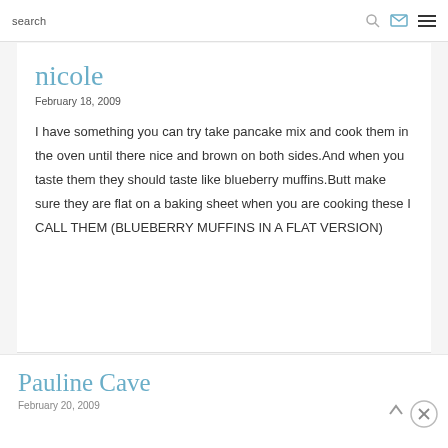search
nicole
February 18, 2009
I have something you can try take pancake mix and cook them in the oven until there nice and brown on both sides.And when you taste them they should taste like blueberry muffins.Butt make sure they are flat on a baking sheet when you are cooking these I CALL THEM (BLUEBERRY MUFFINS IN A FLAT VERSION)
Pauline Cave
February 20, 2009